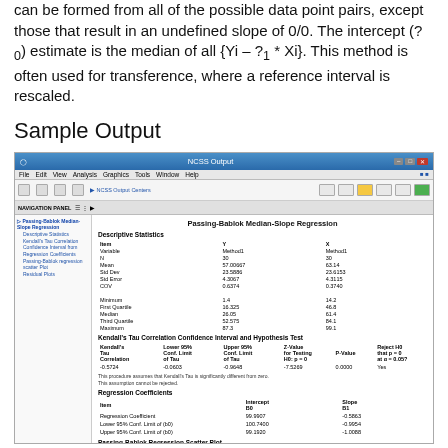can be formed from all of the possible data point pairs, except those that result in an undefined slope of 0/0. The intercept (?0) estimate is the median of all {Yi – ?1 * Xi}. This method is often used for transference, where a reference interval is rescaled.
Sample Output
[Figure (screenshot): NCSS Output window showing Passing-Bablok Median-Slope Regression results including Descriptive Statistics table, Kendall's Tau Correlation Confidence Interval and Hypothesis Test table, and Regression Coefficients table.]